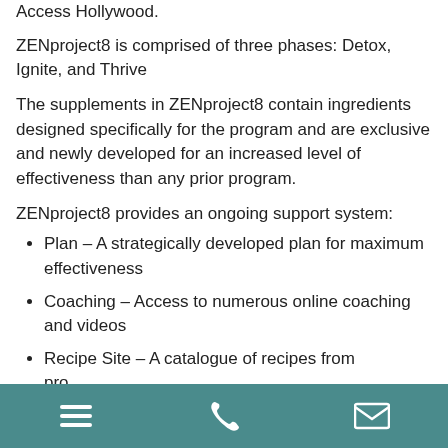Access Hollywood.
ZENproject8 is comprised of three phases: Detox, Ignite, and Thrive
The supplements in ZENproject8 contain ingredients designed specifically for the program and are exclusive and newly developed for an increased level of effectiveness than any prior program.
ZENproject8 provides an ongoing support system:
Plan – A strategically developed plan for maximum effectiveness
Coaching – Access to numerous online coaching and videos
Recipe Site – A catalogue of recipes from
navigation bar with menu, phone, and email icons